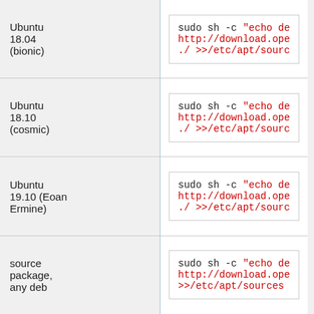| OS | Command |
| --- | --- |
| Ubuntu 18.04 (bionic) | sudo sh -c "echo de http://download.ope ./ >>/etc/apt/sourc |
| Ubuntu 18.10 (cosmic) | sudo sh -c "echo de http://download.ope ./ >>/etc/apt/sourc |
| Ubuntu 19.10 (Eoan Ermine) | sudo sh -c "echo de http://download.ope ./ >>/etc/apt/sourc |
| source package, any deb | sudo sh -c "echo de http://download.ope >>/etc/apt/sources |